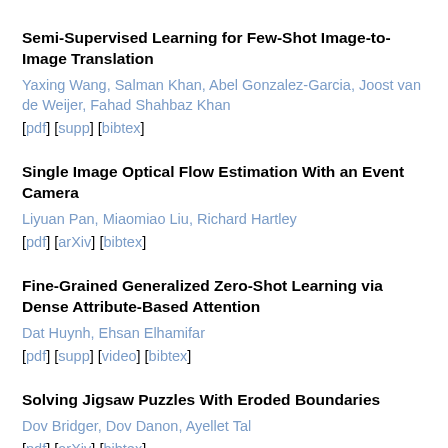Semi-Supervised Learning for Few-Shot Image-to-Image Translation
Yaxing Wang, Salman Khan, Abel Gonzalez-Garcia, Joost van de Weijer, Fahad Shahbaz Khan
[pdf] [supp] [bibtex]
Single Image Optical Flow Estimation With an Event Camera
Liyuan Pan, Miaomiao Liu, Richard Hartley
[pdf] [arXiv] [bibtex]
Fine-Grained Generalized Zero-Shot Learning via Dense Attribute-Based Attention
Dat Huynh, Ehsan Elhamifar
[pdf] [supp] [video] [bibtex]
Solving Jigsaw Puzzles With Eroded Boundaries
Dov Bridger, Dov Danon, Ayellet Tal
[pdf] [arXiv] [bibtex]